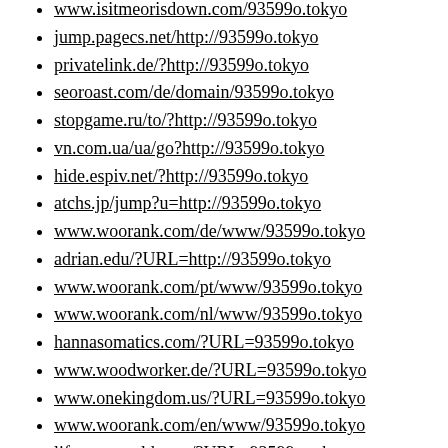www.isitmeorisdown.com/93599o.tokyo
jump.pagecs.net/http://93599o.tokyo
privatelink.de/?http://93599o.tokyo
seoroast.com/de/domain/93599o.tokyo
stopgame.ru/to/?http://93599o.tokyo
vn.com.ua/ua/go?http://93599o.tokyo
hide.espiv.net/?http://93599o.tokyo
atchs.jp/jump?u=http://93599o.tokyo
www.woorank.com/de/www/93599o.tokyo
adrian.edu/?URL=http://93599o.tokyo
www.woorank.com/pt/www/93599o.tokyo
www.woorank.com/nl/www/93599o.tokyo
hannasomatics.com/?URL=93599o.tokyo
www.woodworker.de/?URL=93599o.tokyo
www.onekingdom.us/?URL=93599o.tokyo
www.woorank.com/en/www/93599o.tokyo
lifeyogaworld.com/?URL=93599o.tokyo
24net.kz/go?url=http://93599o.tokyo